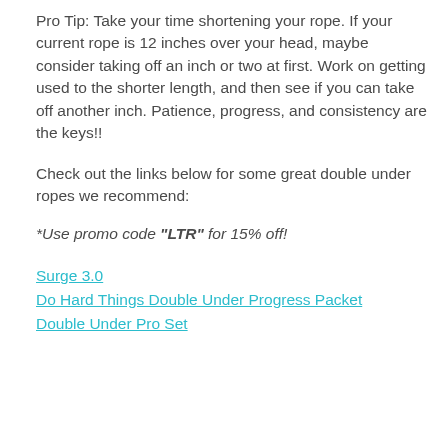Pro Tip: Take your time shortening your rope. If your current rope is 12 inches over your head, maybe consider taking off an inch or two at first. Work on getting used to the shorter length, and then see if you can take off another inch. Patience, progress, and consistency are the keys!!
Check out the links below for some great double under ropes we recommend:
*Use promo code "LTR" for 15% off!
Surge 3.0
Do Hard Things Double Under Progress Packet
Double Under Pro Set